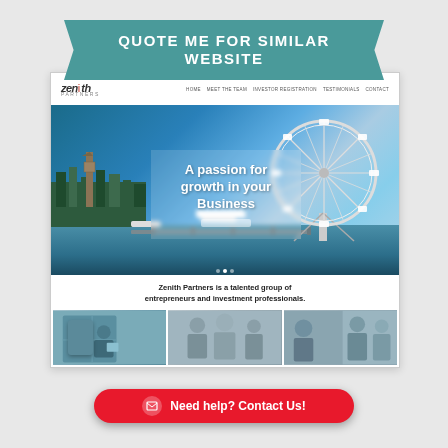QUOTE ME FOR SIMILAR WEBSITE
[Figure (screenshot): Screenshot of the Zenith Partners website showing a navigation bar with the Zenith logo, a hero banner with a London skyline and London Eye photograph with text 'A passion for growth in your Business', a tagline 'Zenith Partners is a talented group of entrepreneurs and investment professionals.', and three business photo thumbnails at the bottom.]
Zenith Partners is a talented group of entrepreneurs and investment professionals.
Need help? Contact Us!